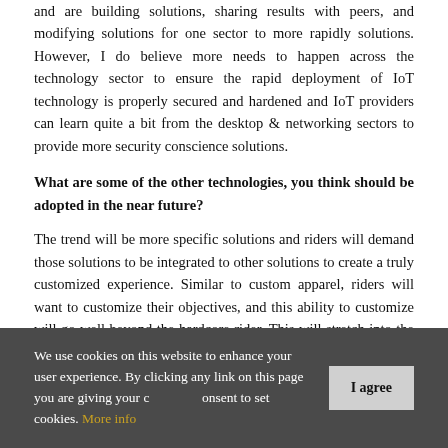and are building solutions, sharing results with peers, and modifying solutions for one sector to more rapidly solutions. However, I do believe more needs to happen across the technology sector to ensure the rapid deployment of IoT technology is properly secured and hardened and IoT providers can learn quite a bit from the desktop & networking sectors to provide more security conscience solutions.
What are some of the other technologies, you think should be adopted in the near future?
The trend will be more specific solutions and riders will demand those solutions to be integrated to other solutions to create a truly customized experience. Similar to custom apparel, riders will want to customize their objectives, and this ability to customize will go well beyond the hardcore rider. This will stretch into the person wanting to commute to work by bike easier, or simply get fit more effectively. I firmly believe that broad technical integration will be considered as much of a success factor fo a
We use cookies on this website to enhance your user experience. By clicking any link on this page you are giving your consent to set cookies. More info